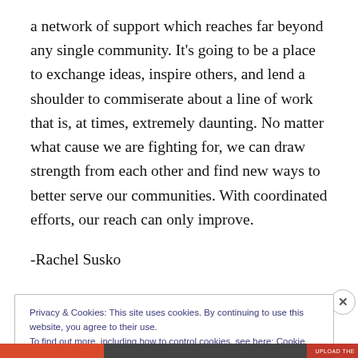a network of support which reaches far beyond any single community. It’s going to be a place to exchange ideas, inspire others, and lend a shoulder to commiserate about a line of work that is, at times, extremely daunting. No matter what cause we are fighting for, we can draw strength from each other and find new ways to better serve our communities. With coordinated efforts, our reach can only improve.
-Rachel Susko
Privacy & Cookies: This site uses cookies. By continuing to use this website, you agree to their use.
To find out more, including how to control cookies, see here: Cookie Policy
Close and accept